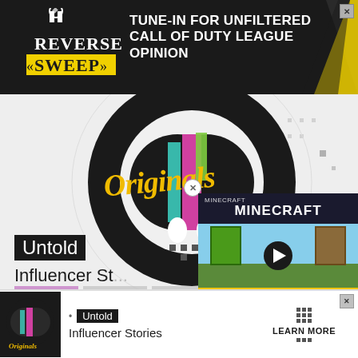[Figure (screenshot): Advertisement banner for 'Reverse Sweep' show - dark background with yellow/black logo and text 'TUNE-IN FOR UNFILTERED CALL OF DUTY LEAGUE OPINION' with diagonal yellow stripe design. X close button in top right.]
[Figure (screenshot): Main page content showing 'Originals' graffiti-style logo in yellow on black circular design with colorful accents, on light gray background]
Untold
Influencer St...
[Figure (screenshot): Minecraft advertisement overlay showing Minecraft logo (white text on dark), two Minecraft characters (Steve and Alex) with a play button, and 'MINECRAFT!' text on yellow background. X close button.]
[Figure (screenshot): Bottom advertisement bar: Originals logo on dark background on left, 'Untold / Influencer Stories' text in middle, 'LEARN MORE' with dots grid on right. X close button top right.]